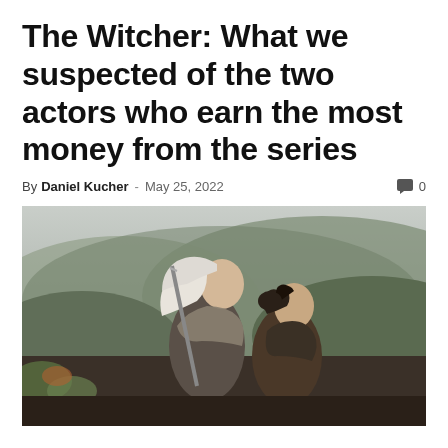The Witcher: What we suspected of the two actors who earn the most money from the series
By Daniel Kucher - May 25, 2022
[Figure (photo): Two actors from The Witcher series standing back-to-back outdoors with mountainous terrain in the background. The person on the left has long white/silver hair and carries a sword, wearing fur-trimmed armor. The person on the right has dark hair pulled back and also wears medieval-style clothing.]